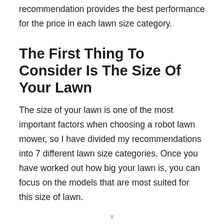recommendation provides the best performance for the price in each lawn size category.
The First Thing To Consider Is The Size Of Your Lawn
The size of your lawn is one of the most important factors when choosing a robot lawn mower, so I have divided my recommendations into 7 different lawn size categories. Once you have worked out how big your lawn is, you can focus on the models that are most suited for this size of lawn.
x